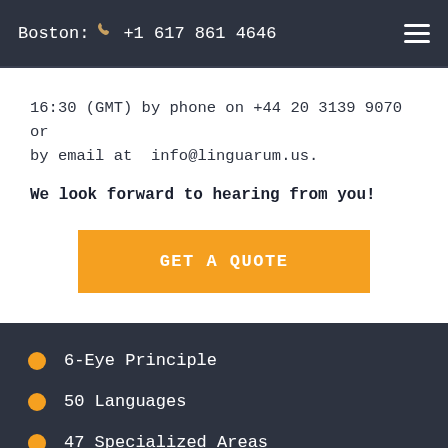Boston: +1 617 861 4646
16:30 (GMT) by phone on +44 20 3139 9070 or by email at  info@linguarum.us.
We look forward to hearing from you!
GET A QUOTE
6-Eye Principle
50 Languages
47 Specialized Areas